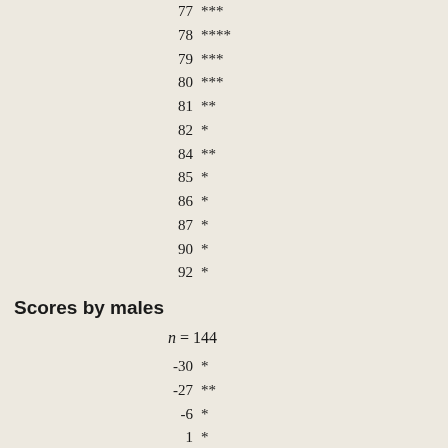| Score | Stars |
| --- | --- |
| 77 | *** |
| 78 | **** |
| 79 | *** |
| 80 | *** |
| 81 | ** |
| 82 | * |
| 84 | ** |
| 85 | * |
| 86 | * |
| 87 | * |
| 90 | * |
| 92 | * |
Scores by males
n = 144
| Score | Stars |
| --- | --- |
| -30 | * |
| -27 | ** |
| -6 | * |
| 1 | * |
| 8 | * |
| 19 | ** |
| 21 | ** |
| 23 | * |
| 24 | ** |
| 25 | * |